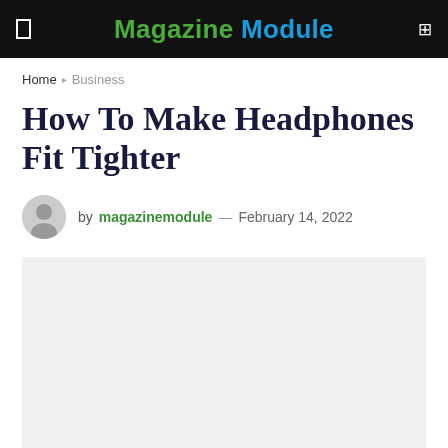Magazine Module
Home › Business
How To Make Headphones Fit Tighter
by magazinemodule — February 14, 2022
[Figure (photo): Gray placeholder image area below the byline]